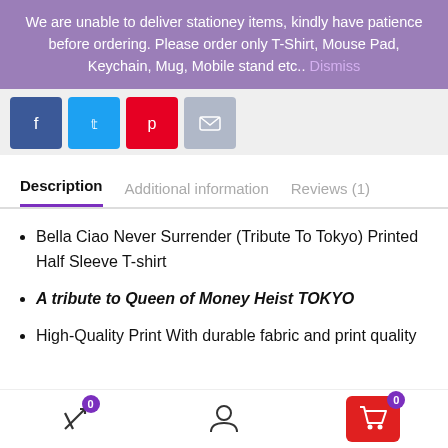We are unable to deliver stationey items, kindly have patience before ordering. Please order only T-Shirt, Mouse Pad, Keychain, Mug, Mobile stand etc.. Dismiss
[Figure (infographic): Social share buttons row: Facebook (blue), Twitter (light blue), Pinterest (red), Email (grey)]
Description | Additional information | Reviews (1)
Bella Ciao Never Surrender (Tribute To Tokyo) Printed Half Sleeve T-shirt
A tribute to Queen of Money Heist TOKYO
High-Quality Print With durable fabric and print quality
[Figure (infographic): Bottom navigation bar with compare icon (badge 0), user icon, and red cart button (badge 0)]